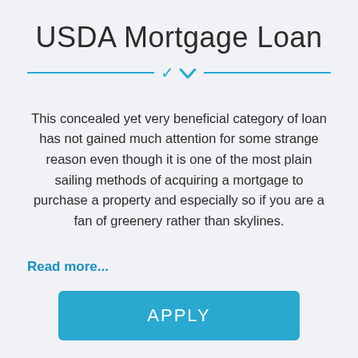USDA Mortgage Loan
This concealed yet very beneficial category of loan has not gained much attention for some strange reason even though it is one of the most plain sailing methods of acquiring a mortgage to purchase a property and especially so if you are a fan of greenery rather than skylines.
Read more...